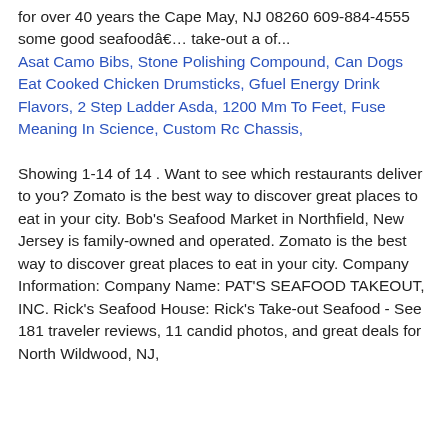for over 40 years the Cape May, NJ 08260 609-884-4555 some good seafood… take-out a of...
Asat Camo Bibs, Stone Polishing Compound, Can Dogs Eat Cooked Chicken Drumsticks, Gfuel Energy Drink Flavors, 2 Step Ladder Asda, 1200 Mm To Feet, Fuse Meaning In Science, Custom Rc Chassis,
Showing 1-14 of 14 . Want to see which restaurants deliver to you? Zomato is the best way to discover great places to eat in your city. Bob's Seafood Market in Northfield, New Jersey is family-owned and operated. Zomato is the best way to discover great places to eat in your city. Company Information: Company Name: PAT'S SEAFOOD TAKEOUT, INC. Rick's Seafood House: Rick's Take-out Seafood - See 181 traveler reviews, 11 candid photos, and great deals for North Wildwood, NJ,